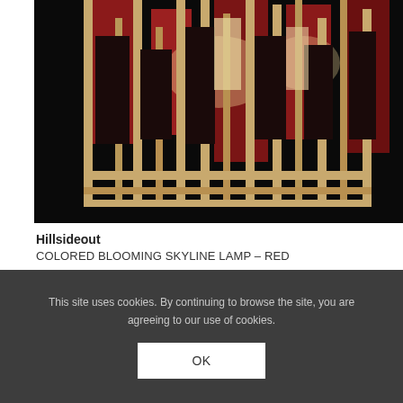[Figure (photo): A decorative wooden chandelier with red and dark panels, illuminated from within, photographed against a dark/black background. The lamp features geometric rectangular wooden frames with colored inserts in red and white/cream tones.]
Hillsideout
COLORED BLOOMING SKYLINE LAMP – RED
Chandelier
This site uses cookies. By continuing to browse the site, you are agreeing to our use of cookies.
OK